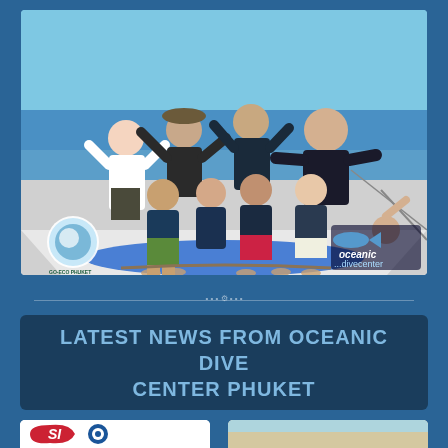[Figure (photo): Group of 8 people on the bow of a boat at sea, all waving and smiling. Some standing in back row, some sitting in front. Wearing navy blue t-shirts. Ocean and blue sky in background. Logos visible: Go-Eco Phuket (bottom left) and Oceanic Dive Center (bottom right).]
LATEST NEWS FROM OCEANIC DIVE CENTER PHUKET
[Figure (photo): Partial thumbnail image on bottom left showing red and blue logos]
[Figure (photo): Partial thumbnail image on bottom right showing sandy/beach scene]